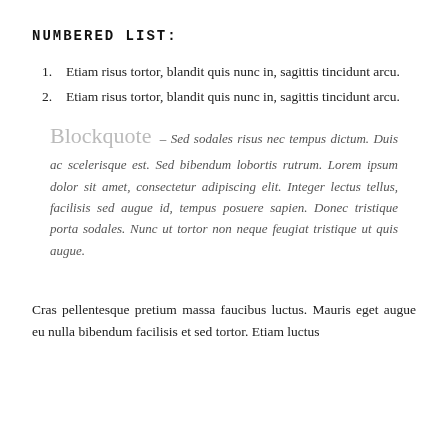NUMBERED LIST:
Etiam risus tortor, blandit quis nunc in, sagittis tincidunt arcu.
Etiam risus tortor, blandit quis nunc in, sagittis tincidunt arcu.
Blockquote – Sed sodales risus nec tempus dictum. Duis ac scelerisque est. Sed bibendum lobortis rutrum. Lorem ipsum dolor sit amet, consectetur adipiscing elit. Integer lectus tellus, facilisis sed augue id, tempus posuere sapien. Donec tristique porta sodales. Nunc ut tortor non neque feugiat tristique ut quis augue.
Cras pellentesque pretium massa faucibus luctus. Mauris eget augue eu nulla bibendum facilisis et sed tortor. Etiam luctus